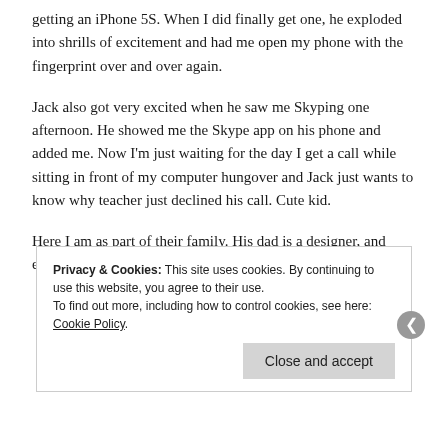getting an iPhone 5S. When I did finally get one, he exploded into shrills of excitement and had me open my phone with the fingerprint over and over again.
Jack also got very excited when he saw me Skyping one afternoon. He showed me the Skype app on his phone and added me. Now I'm just waiting for the day I get a call while sitting in front of my computer hungover and Jack just wants to know why teacher just declined his call. Cute kid.
Here I am as part of their family. His dad is a designer, and everything made complete sense as soon as I met him.
Privacy & Cookies: This site uses cookies. By continuing to use this website, you agree to their use.
To find out more, including how to control cookies, see here: Cookie Policy
[Close and accept]